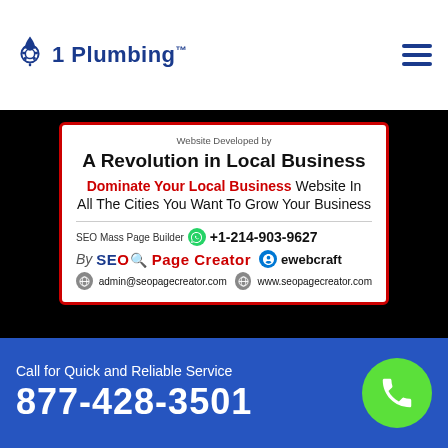[Figure (logo): 1 Plumbing logo with plumbing drop icon and text '1 Plumbing' in blue]
[Figure (infographic): SEO Page Creator promotional card: 'Website Developed by / A Revolution in Local Business / Dominate Your Local Business Website In All The Cities You Want To Grow Your Business / SEO Mass Page Builder +1-214-903-9627 / By SEO Page Creator / ewebcraft / admin@seopagecreator.com / www.seopagecreator.com']
Disclaimer: 1-Plumbing.com is a free service to assist homeowners in connecting with local service providers. All service providers are independent and 1-Plumbing.com does not warrant or guarantee any service performed or product offered
Call for Quick and Reliable Service
877-428-3501